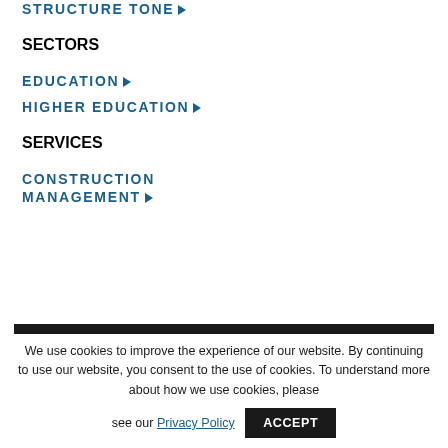STRUCTURE TONE ▶
SECTORS
EDUCATION ▶
HIGHER EDUCATION ▶
SERVICES
CONSTRUCTION MANAGEMENT ▶
We use cookies to improve the experience of our website. By continuing to use our website, you consent to the use of cookies. To understand more about how we use cookies, please see our Privacy Policy   ACCEPT